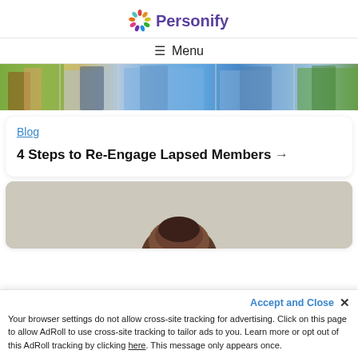Personify
≡ Menu
[Figure (photo): A horizontal strip showing multiple people standing together outdoors, cropped at waist level]
Blog
4 Steps to Re-Engage Lapsed Members →
[Figure (photo): A card with a beige/taupe background showing the top of a person's head from behind]
Accept and Close ✕
Your browser settings do not allow cross-site tracking for advertising. Click on this page to allow AdRoll to use cross-site tracking to tailor ads to you. Learn more or opt out of this AdRoll tracking by clicking here. This message only appears once.